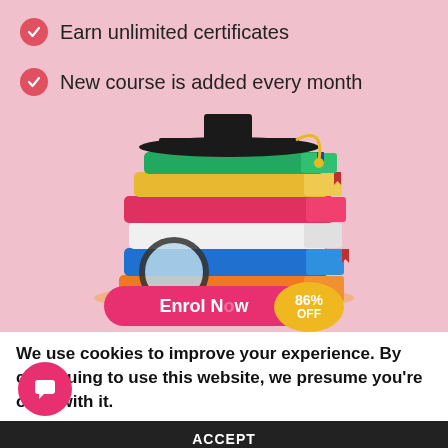Earn unlimited certificates
New course is added every month
[Figure (illustration): Stack of colorful books with a graduation cap on top and a magnifying glass leaning against them, on a pink background. Below the books is a pink 'Enrol Now' button with a yellow badge showing '86% OFF'.]
We use cookies to improve your experience. By continuing to use this website, we presume you're okay with it.
ACCEPT